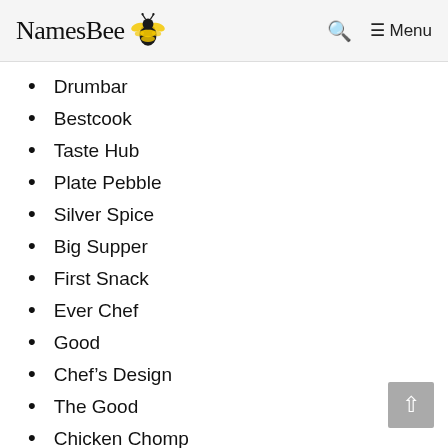NamesBee [logo] | Search | Menu
Drumbar
Bestcook
Taste Hub
Plate Pebble
Silver Spice
Big Supper
First Snack
Ever Chef
Good
Chef’s Design
The Good
Chicken Chomp
Kitchen Bart
Ceon Cookerware
The Trained Cuisine